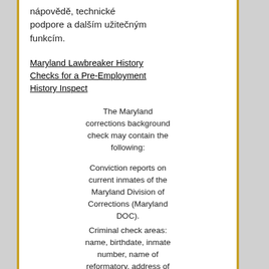nápovědě, technické podpore a dalším užitečným funkcím.
Maryland Lawbreaker History Checks for a Pre-Employment History Inspect
The Maryland corrections background check may contain the following:
Conviction reports on current inmates of the Maryland Division of Corrections (Maryland DOC).
Criminal check areas: name, birthdate, inmate number, name of reformatory, address of correctional facility, as well as the phone number of correctional facility.
Maryland adjustments history check upgrade schedule: Quarterly. The Maryland history check court documents